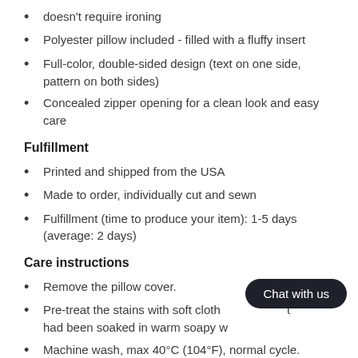doesn't require ironing
Polyester pillow included - filled with a fluffy insert
Full-color, double-sided design (text on one side, pattern on both sides)
Concealed zipper opening for a clean look and easy care
Fulfillment
Printed and shipped from the USA
Made to order, individually cut and sewn
Fulfillment (time to produce your item): 1-5 days (average: 2 days)
Care instructions
Remove the pillow cover.
Pre-treat the stains with soft cloth that had been soaked in warm soapy w...
Machine wash, max 40°C (104°F), normal cycle.
...